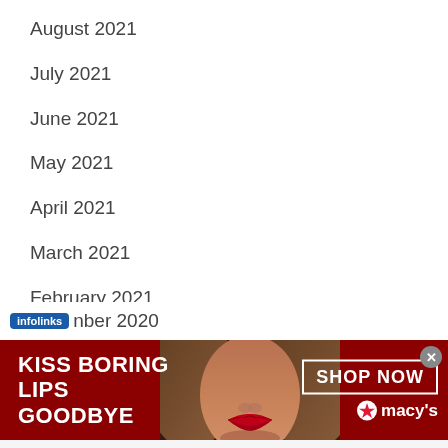August 2021
July 2021
June 2021
May 2021
April 2021
March 2021
February 2021
January 2021
nber 2020
[Figure (infographic): Macy's advertisement banner: 'KISS BORING LIPS GOODBYE' with model photo and SHOP NOW button with Macy's logo]